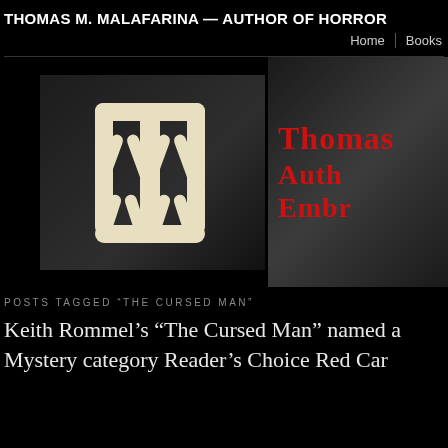THOMAS M. MALAFARINA — AUTHOR OF HORROR
Home | Books
[Figure (logo): Thomas M. Malafarina author logo: bone-styled MTM monogram on dark background with red text reading Thomas, Auth[or], Embr[acing]]
POSTS TAGGED “THE CURSED MAN”
Keith Rommel’s “The Cursed Man” named a Mystery category Reader’s Choice Red Car[pet]